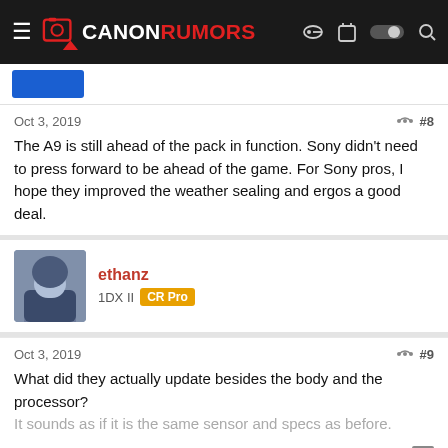CANON RUMORS
Oct 3, 2019  #8
The A9 is still ahead of the pack in function. Sony didn't need to press forward to be ahead of the game. For Sony pros, I hope they improved the weather sealing and ergos a good deal.
ethanz  1DX II  CR Pro
Oct 3, 2019  #9
What did they actually update besides the body and the processor? It sounds as if it is the same sensor and specs as before.
1 user